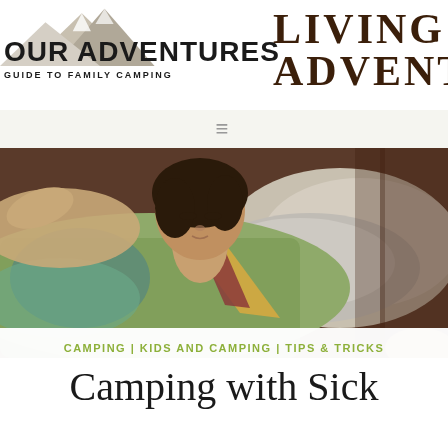[Figure (logo): OUR ADVENTURES logo with mountain graphic and tagline GUIDE TO FAMILY CAMPING, alongside LIVING ADVENTURES text in serif font]
[Figure (photo): Person lying in bed sick, covered with a colorful quilt/blanket, eyes closed, resting on a pillow]
CAMPING | KIDS AND CAMPING | TIPS & TRICKS
Camping with Sick